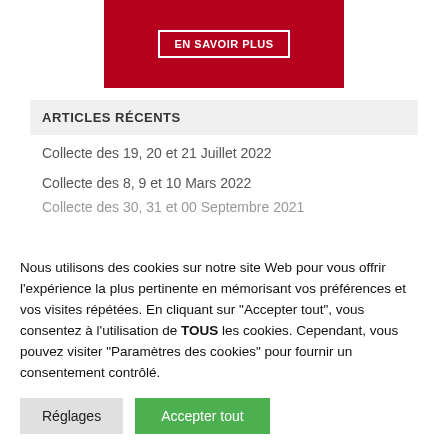[Figure (other): Red banner with 'EN SAVOIR PLUS' button in white border]
ARTICLES RÉCENTS
Collecte des 19, 20 et 21 Juillet 2022
Collecte des 8, 9 et 10 Mars 2022
Collecte des 30, 31 et 00 Septembre 2021
Nous utilisons des cookies sur notre site Web pour vous offrir l'expérience la plus pertinente en mémorisant vos préférences et vos visites répétées. En cliquant sur "Accepter tout", vous consentez à l'utilisation de TOUS les cookies. Cependant, vous pouvez visiter "Paramètres des cookies" pour fournir un consentement contrôlé.
Réglages | Accepter tout